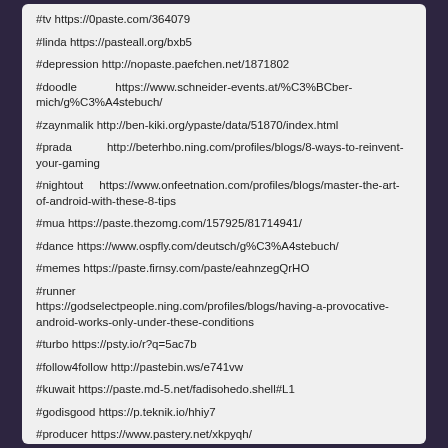#tv https://0paste.com/364079
#linda https://pasteall.org/bxb5
#depression http://nopaste.paefchen.net/1871802
#doodle https://www.schneider-events.at/%C3%BCber-mich/g%C3%A4stebuch/
#zaynmalik http://ben-kiki.org/ypaste/data/51870/index.html
#prada http://beterhbo.ning.com/profiles/blogs/8-ways-to-reinvent-your-gaming
#nightout https://www.onfeetnation.com/profiles/blogs/master-the-art-of-android-with-these-8-tips
#mua https://paste.thezomg.com/157925/81714941/
#dance https://www.ospfly.com/deutsch/g%C3%A4stebuch/
#memes https://paste.firnsy.com/paste/eahnzegQrHO
#runner https://godselectpeople.ning.com/profiles/blogs/having-a-provocative-android-works-only-under-these-conditions
#turbo https://psty.io/r?q=5ac7b
#follow4follow http://pastebin.ws/e741vw
#kuwait https://paste.md-5.net/fadisohedo.shell#L1
#godisgood https://p.teknik.io/hhiy7
#producer https://www.pastery.net/xkpyqh/